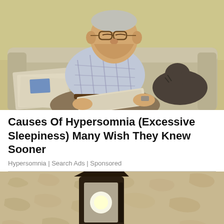[Figure (photo): Elderly man sitting on a beige sofa, head tilted back with mouth open as if sleeping or yawning, wearing glasses and a plaid shirt, holding a newspaper in his lap, with a cat resting on the sofa beside him.]
Causes Of Hypersomnia (Excessive Sleepiness) Many Wish They Knew Sooner
Hypersomnia | Search Ads | Sponsored
[Figure (photo): Close-up of a wall-mounted outdoor lantern light fixture against a textured stone or stucco wall, partially visible at the bottom of the page.]